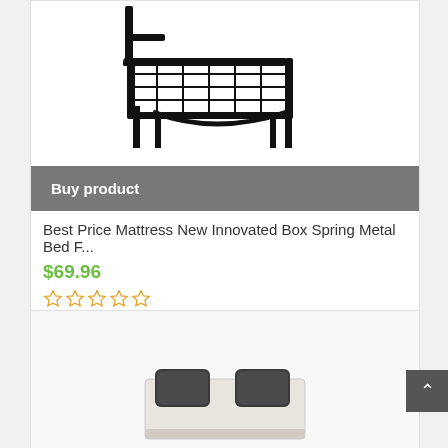[Figure (photo): Metal bed frame / box spring product image showing a black metal platform bed frame with grid wire support surface and four corner legs]
Buy product
Best Price Mattress New Innovated Box Spring Metal Bed F...
$69.96
[Figure (other): Five empty star rating icons in orange outline]
[Figure (photo): Second product card showing partial image of a bed with white/cream upholstered base and dark decorative pillows]